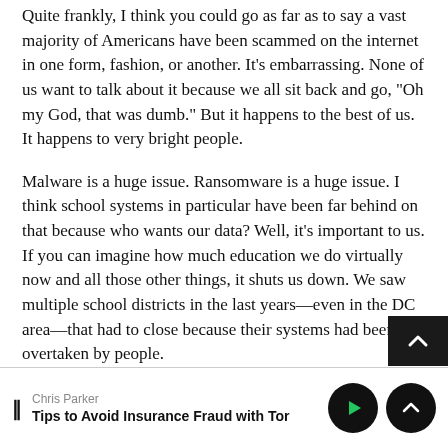Quite frankly, I think you could go as far as to say a vast majority of Americans have been scammed on the internet in one form, fashion, or another. It's embarrassing. None of us want to talk about it because we all sit back and go, "Oh my God, that was dumb." But it happens to the best of us. It happens to very bright people.
Malware is a huge issue. Ransomware is a huge issue. I think school systems in particular have been far behind on that because who wants our data? Well, it's important to us. If you can imagine how much education we do virtually now and all those other things, it shuts us down. We saw multiple school districts in the last years—even in the DC area—that had to close because their systems had been overtaken by people.
Chris Parker | Tips to Avoid Insurance Fraud with Tor